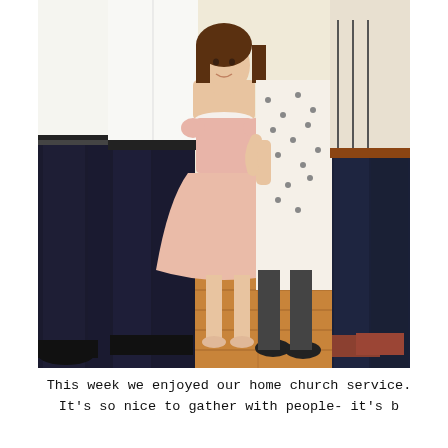[Figure (photo): A family group photo taken indoors on a wooden floor. In the center stands a young girl wearing a pink dress with a peter pan collar, barefoot, smiling at the camera. She is surrounded by adults: on the left a man in dark trousers and a white shirt, to her right a woman in a white floral/spotted dress, and on the far right a man in dark jeans and a patterned shirt. The adults' heads are cropped out of the frame.]
This week we enjoyed our home church service. It's so nice to gather with people- it's b